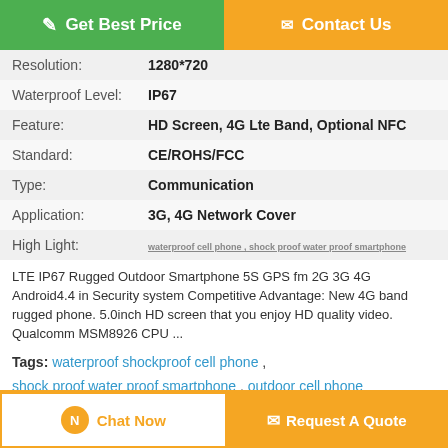[Figure (other): Two buttons: Get Best Price (green) and Contact Us (orange)]
| Resolution: | 1280*720 |
| Waterproof Level: | IP67 |
| Feature: | HD Screen, 4G Lte Band, Optional NFC |
| Standard: | CE/ROHS/FCC |
| Type: | Communication |
| Application: | 3G, 4G Network Cover |
| High Light: | waterproof cell phone, shock proof water proof smartphone |
LTE IP67 Rugged Outdoor Smartphone 5S GPS fm 2G 3G 4G Android4.4 in Security system Competitive Advantage: New 4G band rugged phone. 5.0inch HD screen that you enjoy HD quality video. Qualcomm MSM8926 CPU ...
Tags: waterproof shockproof cell phone , shock proof water proof smartphone , outdoor cell phone
[Figure (other): Product Description > button (grey)]
[Figure (other): Bottom bar with Chat Now and Request A Quote buttons]